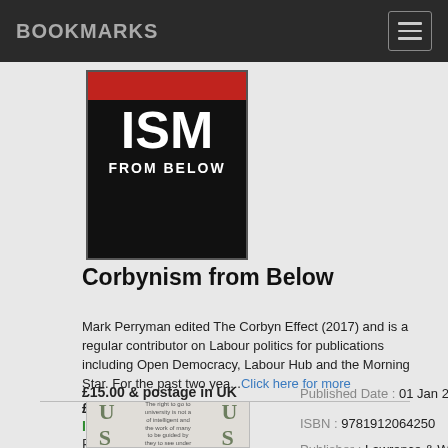BOOKMARKS
[Figure (photo): Book cover for 'Corbynism from Below' — black background with red bar at top, large white text 'ISM' and 'FROM BELOW']
Corbynism from Below
Mark Perryman
Mark Perryman edited The Corbyn Effect (2017) and is a regular contributor on Labour politics for publications including Open Democracy, Labour Hub and the Morning Star. For the past two yea...Click here for more
£15.00 & postage in UK £2.50
In Stock
Paperback
Published Date : 01 Jan 2019
ISBN : 9781912064250
Publisher : Lawrence & Wishart Ltd
[Figure (photo): Thumbnail of a second book with green decorative lettering and small text in the center]